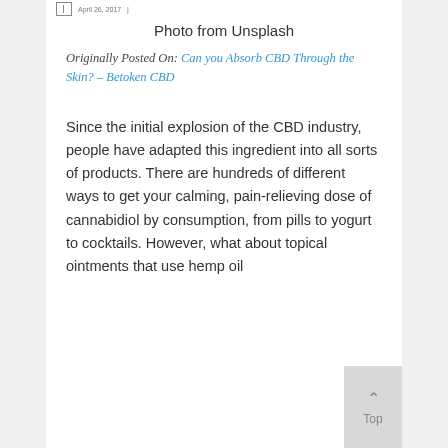April 26, 2017
Photo from Unsplash
Originally Posted On: Can you Absorb CBD Through the Skin? – Betoken CBD
Since the initial explosion of the CBD industry, people have adapted this ingredient into all sorts of products. There are hundreds of different ways to get your calming, pain-relieving dose of cannabidiol by consumption, from pills to yogurt to cocktails. However, what about topical ointments that use hemp oil